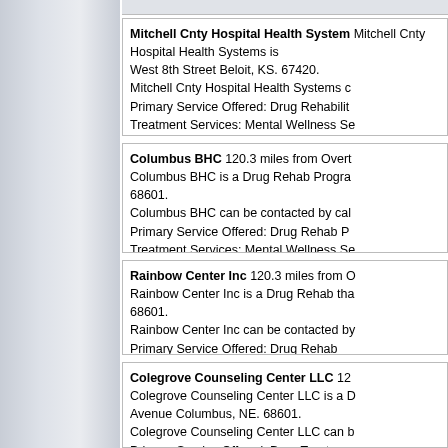Mitchell Cnty Hospital Health System — Mitchell Cnty Hospital Health Systems is located at West 8th Street Beloit, KS. 67420. Mitchell Cnty Hospital Health Systems can be contacted... Primary Service Offered: Drug Rehabilitation. Treatment Services: Mental Wellness Services for Patients, Drug Rehab for Seniors, Drug...
Columbus BHC 120.3 miles from Overt... Columbus BHC is a Drug Rehab Program... 68601. Columbus BHC can be contacted by cal... Primary Service Offered: Drug Rehab Pr... Treatment Services: Mental Wellness Se... for the Hearing Impaired, Spanish Spea...
Rainbow Center Inc 120.3 miles from O... Rainbow Center Inc is a Drug Rehab tha... 68601. Rainbow Center Inc can be contacted by... Primary Service Offered: Drug Rehab Treatment Services: Mental Wellness Se...
Colegrove Counseling Center LLC 12... Colegrove Counseling Center LLC is a D... Avenue Columbus, NE. 68601. Colegrove Counseling Center LLC can b... Primary Service Offered: Drug Treatmer... Treatment Services: Drug Rehab Progr...